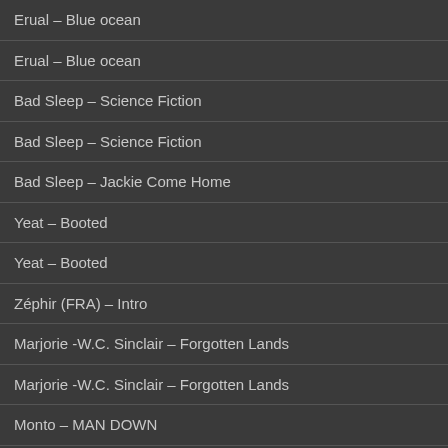Erual – Blue ocean
Erual – Blue ocean
Bad Sleep – Science Fiction
Bad Sleep – Science Fiction
Bad Sleep – Jackie Come Home
Yeat – Booted
Yeat – Booted
Zéphir (FRA) – Intro
Marjorie -W.C. Sinclair – Forgotten Lands
Marjorie -W.C. Sinclair – Forgotten Lands
Monto – MAN DOWN